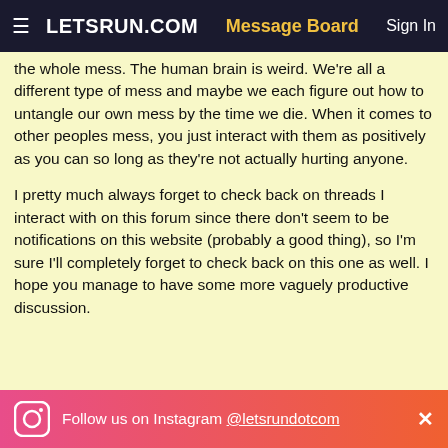≡  LETSRUN.COM   Message Board   Sign In
the whole mess. The human brain is weird. We're all a different type of mess and maybe we each figure out how to untangle our own mess by the time we die. When it comes to other peoples mess, you just interact with them as positively as you can so long as they're not actually hurting anyone.

I pretty much always forget to check back on threads I interact with on this forum since there don't seem to be notifications on this website (probably a good thing), so I'm sure I'll completely forget to check back on this one as well. I hope you manage to have some more vaguely productive discussion.
Follow us on Instagram @letsrundotcom